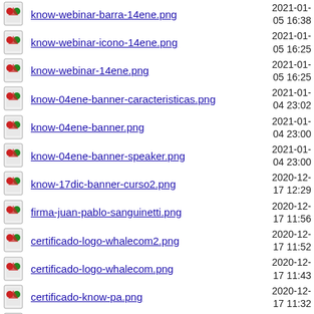know-webinar-barra-14ene.png
know-webinar-icono-14ene.png
know-webinar-14ene.png
know-04ene-banner-caracteristicas.png
know-04ene-banner.png
know-04ene-banner-speaker.png
know-17dic-banner-curso2.png
firma-juan-pablo-sanguinetti.png
certificado-logo-whalecom2.png
certificado-logo-whalecom.png
certificado-know-pa.png